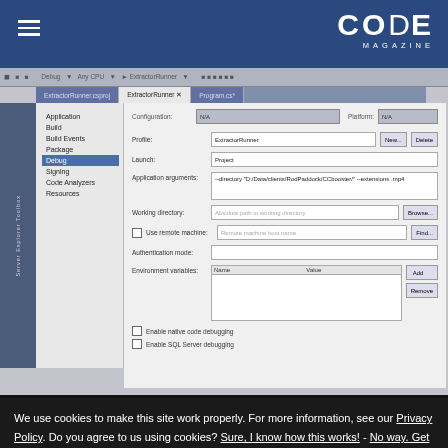CODE MAGAZINE
[Figure (screenshot): Visual Studio IDE project properties debug settings panel showing ExtractorRunner configuration with application arguments, working directory, environment variables fields]
We use cookies to make this site work properly. For more information, see our Privacy Policy. Do you agree to us using cookies? Sure, I know how this works! - No way. Get me out of here!